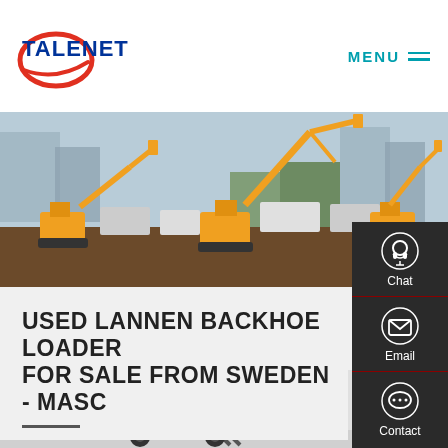TALENET | MENU
[Figure (photo): Construction site with multiple orange excavators/backhoe loaders at work, city skyline in background]
USED LANNEN BACKHOE LOADERS FOR SALE FROM SWEDEN - MASCUS
[Figure (photo): Yellow backhoe loader machinery close-up at bottom of page]
[Figure (infographic): Side panel with Chat, Email, and Contact icons on dark background]